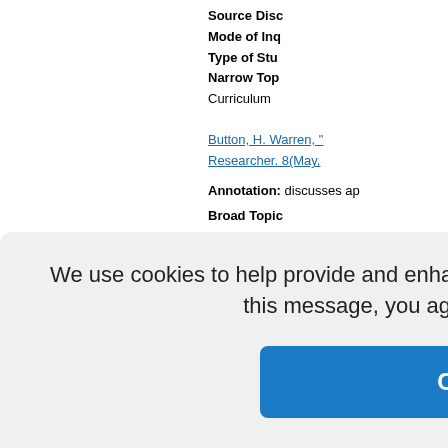Source Disc...
Mode of Inq...
Type of Stu...
Narrow Top...
Curriculum
Button, H. Warren, "..." Researcher. 8(May,...
Annotation: discusses ap...
Broad Topic... Inquiry,Curri...
Source Disc...
Mode of Inq...
Type of Stu...
Narrow Top...
Jtilization
Coburn, Cynthia E....
We use cookies to help provide and enhance our service and tailor content. By closing this message, you agree to the use of cookies.
Close